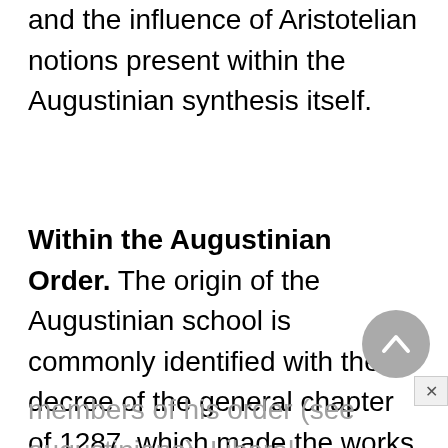and the influence of Aristotelian notions present within the Augustinian synthesis itself.
Within the Augustinian Order. The origin of the Augustinian school is commonly identified with the decree of the general chapter of 1287, which made the works of Giles of Rome, present and future (scripta et scribenda), mandatory upon all members of his order (see augustinians). Liberal interpretations